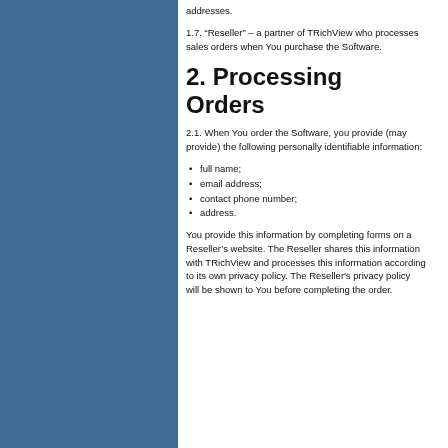addresses.
1.7. “Reseller” – a partner of TRichView who processes sales orders when You purchase the Software.
2. Processing Orders
2.1. When You order the Software, you provide (may provide) the following personally identifiable information:
full name;
email address;
contact phone number;
address.
You provide this information by completing forms on a Reseller’s website. The Reseller shares this information with TRichView and processes this information according to its own privacy policy. The Reseller's privacy policy will be shown to You before completing the order.